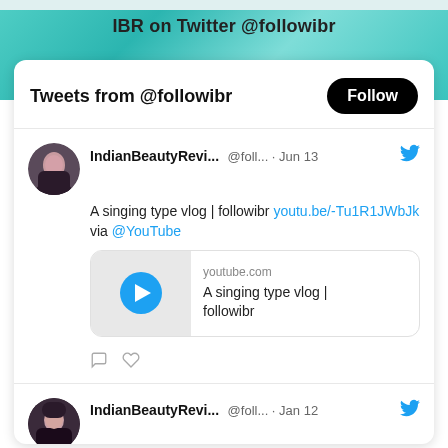IBR on Twitter @followibr
Tweets from @followibr
Follow
IndianBeautyRevi... @foll... · Jun 13
A singing type vlog | followibr youtu.be/-Tu1R1JWbJk via @YouTube
[Figure (screenshot): YouTube video thumbnail with play button, showing youtube.com and title 'A singing type vlog | followibr']
IndianBeautyRevi... @foll... · Jan 12
Amazon Beauty Haul January 2022